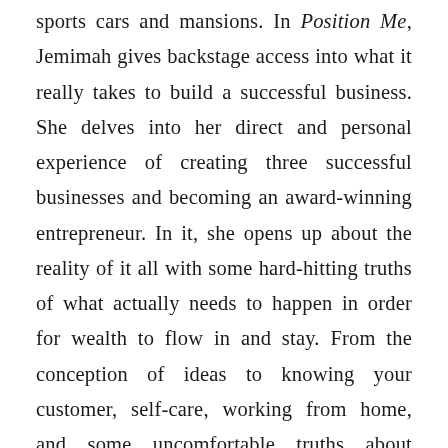sports cars and mansions. In Position Me, Jemimah gives backstage access into what it really takes to build a successful business. She delves into her direct and personal experience of creating three successful businesses and becoming an award-winning entrepreneur. In it, she opens up about the reality of it all with some hard-hitting truths of what actually needs to happen in order for wealth to flow in and stay. From the conception of ideas to knowing your customer, self-care, working from home, and some uncomfortable truths about success, Jemimah lays down the path to building a sustainable business.